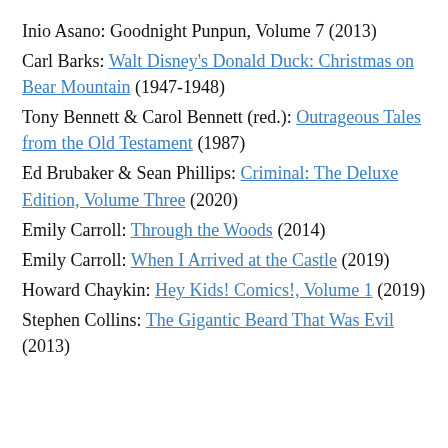Inio Asano: Goodnight Punpun, Volume 7 (2013)
Carl Barks: Walt Disney's Donald Duck: Christmas on Bear Mountain (1947-1948)
Tony Bennett & Carol Bennett (red.): Outrageous Tales from the Old Testament (1987)
Ed Brubaker & Sean Phillips: Criminal: The Deluxe Edition, Volume Three (2020)
Emily Carroll: Through the Woods (2014)
Emily Carroll: When I Arrived at the Castle (2019)
Howard Chaykin: Hey Kids! Comics!, Volume 1 (2019)
Stephen Collins: The Gigantic Beard That Was Evil (2013)